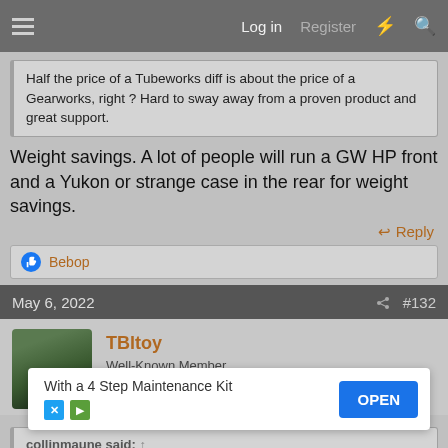Log in  Register
Half the price of a Tubeworks diff is about the price of a Gearworks, right ? Hard to sway away from a proven product and great support.
Weight savings. A lot of people will run a GW HP front and a Yukon or strange case in the rear for weight savings.
↩ Reply
👍 Bebop
May 6, 2022  #132
TBltoy
Well-Known Member
collinmaune said: ↑
Weight ... Yukon or strange ...